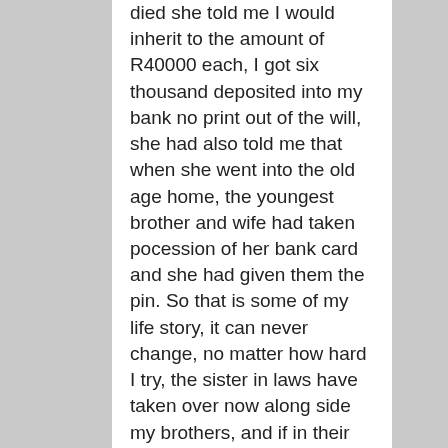died she told me I would inherit to the amount of R40000 each, I got six thousand deposited into my bank no print out of the will, she had also told me that when she went into the old age home, the youngest brother and wife had taken pocession of her bank card and she had given them the pin. So that is some of my life story, it can never change, no matter how hard I try, the sister in laws have taken over now along side my brothers, and if in their company they ignore me, my sons are both good students, well behaved, well raised, they did well at school and also with their post education, I am now told by certain members they have achieved nothing, they never will and they will be